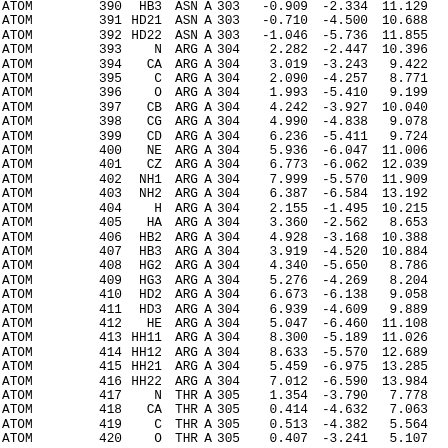| Record | Serial | Name | ResName | Chain | ResSeq |  | X | Y | Z |
| --- | --- | --- | --- | --- | --- | --- | --- | --- | --- |
| ATOM | 390 | HB3 | ASN | A | 303 |  | -0.909 | -2.334 | 11.129 |
| ATOM | 391 | HD21 | ASN | A | 303 |  | -0.710 | -4.500 | 10.688 |
| ATOM | 392 | HD22 | ASN | A | 303 |  | -1.046 | -5.736 | 11.855 |
| ATOM | 393 | N | ARG | A | 304 |  | 2.282 | -2.447 | 10.396 |
| ATOM | 394 | CA | ARG | A | 304 |  | 3.019 | -3.243 | 9.422 |
| ATOM | 395 | C | ARG | A | 304 |  | 2.090 | -4.257 | 8.771 |
| ATOM | 396 | O | ARG | A | 304 |  | 1.993 | -5.410 | 9.199 |
| ATOM | 397 | CB | ARG | A | 304 |  | 4.242 | -3.927 | 10.040 |
| ATOM | 398 | CG | ARG | A | 304 |  | 4.990 | -4.838 | 9.078 |
| ATOM | 399 | CD | ARG | A | 304 |  | 6.236 | -5.411 | 9.724 |
| ATOM | 400 | NE | ARG | A | 304 |  | 5.936 | -6.047 | 11.006 |
| ATOM | 401 | CZ | ARG | A | 304 |  | 6.773 | -6.062 | 12.039 |
| ATOM | 402 | NH1 | ARG | A | 304 |  | 7.999 | -5.570 | 11.909 |
| ATOM | 403 | NH2 | ARG | A | 304 |  | 6.387 | -6.584 | 13.192 |
| ATOM | 404 | H | ARG | A | 304 |  | 2.155 | -1.495 | 10.215 |
| ATOM | 405 | HA | ARG | A | 304 |  | 3.360 | -2.562 | 8.653 |
| ATOM | 406 | HB2 | ARG | A | 304 |  | 4.928 | -3.168 | 10.388 |
| ATOM | 407 | HB3 | ARG | A | 304 |  | 3.919 | -4.520 | 10.884 |
| ATOM | 408 | HG2 | ARG | A | 304 |  | 4.340 | -5.650 | 8.786 |
| ATOM | 409 | HG3 | ARG | A | 304 |  | 5.276 | -4.269 | 8.204 |
| ATOM | 410 | HD2 | ARG | A | 304 |  | 6.673 | -6.138 | 9.058 |
| ATOM | 411 | HD3 | ARG | A | 304 |  | 6.939 | -4.609 | 9.889 |
| ATOM | 412 | HE | ARG | A | 304 |  | 5.047 | -6.460 | 11.108 |
| ATOM | 413 | HH11 | ARG | A | 304 |  | 8.300 | -5.189 | 11.026 |
| ATOM | 414 | HH12 | ARG | A | 304 |  | 8.633 | -5.570 | 12.689 |
| ATOM | 415 | HH21 | ARG | A | 304 |  | 5.459 | -6.975 | 13.285 |
| ATOM | 416 | HH22 | ARG | A | 304 |  | 7.012 | -6.590 | 13.984 |
| ATOM | 417 | N | THR | A | 305 |  | 1.354 | -3.790 | 7.778 |
| ATOM | 418 | CA | THR | A | 305 |  | 0.414 | -4.632 | 7.063 |
| ATOM | 419 | C | THR | A | 305 |  | 0.513 | -4.382 | 5.564 |
| ATOM | 420 | O | THR | A | 305 |  | 0.407 | -3.241 | 5.107 |